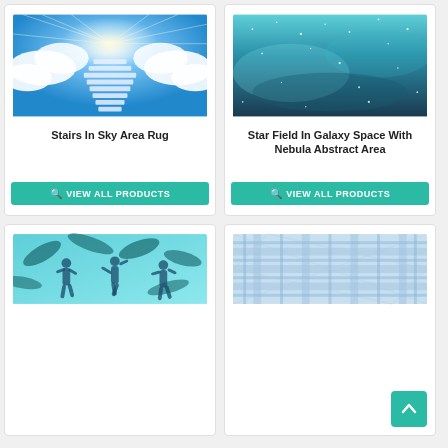[Figure (photo): Stairs in sky with bright light and clouds, area rug product image]
Stairs In Sky Area Rug
VIEW ALL PRODUCTS
[Figure (photo): Star field in galaxy space with nebula abstract teal/dark blue area rug product image]
Star Field In Galaxy Space With Nebula Abstract Area
VIEW ALL PRODUCTS
[Figure (photo): Teal tropical dancers silhouette area rug product image]
[Figure (photo): Blue plaid area rug product image with scroll-to-top button]